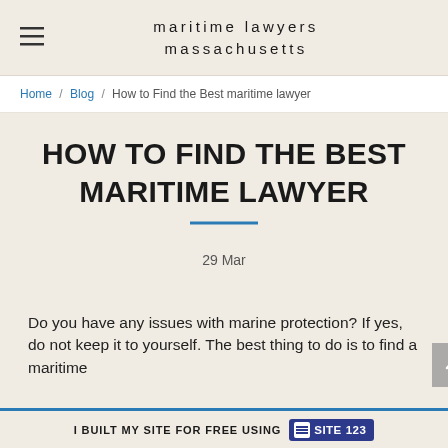maritime lawyers massachusetts
Home / Blog / How to Find the Best maritime lawyer
HOW TO FIND THE BEST MARITIME LAWYER
29 Mar
Do you have any issues with marine protection? If yes, do not keep it to yourself. The best thing to do is to find a maritime
I BUILT MY SITE FOR FREE USING SITE123